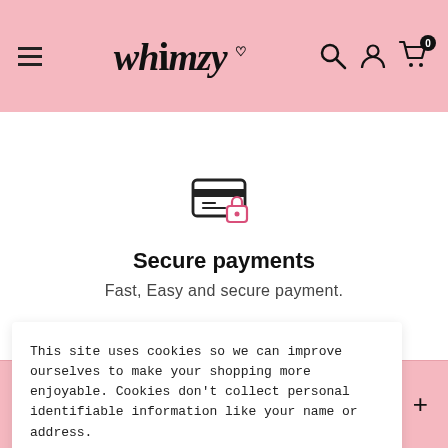Whimzy — navigation header with menu, logo, search, account, and cart icons
[Figure (illustration): Secure payments icon: credit card with a pink padlock overlay]
Secure payments
Fast, Easy and secure payment.
EXPLORE
This site uses cookies so we can improve ourselves to make your shopping more enjoyable. Cookies don't collect personal identifiable information like your name or address.
Accept